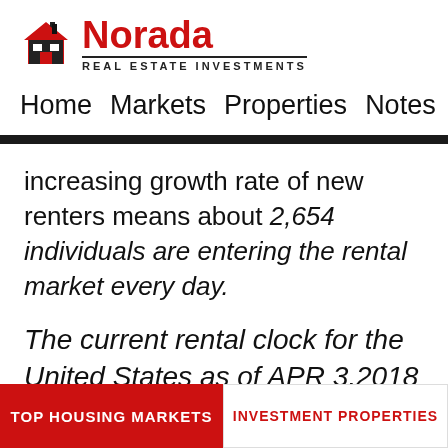Norada REAL ESTATE INVESTMENTS
Home  Markets  Properties  Notes  Members
increasing growth rate of new renters means about 2,654 individuals are entering the rental market every day.
The current rental clock for the United States as of APR 3,2018
TOP HOUSING MARKETS  |  INVESTMENT PROPERTIES